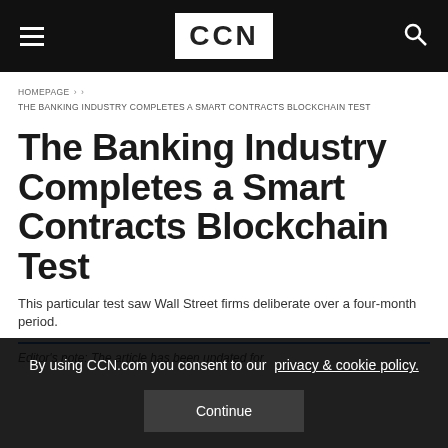CCN
HOMEPAGE › › THE BANKING INDUSTRY COMPLETES A SMART CONTRACTS BLOCKCHAIN TEST
The Banking Industry Completes a Smart Contracts Blockchain Test
This particular test saw Wall Street firms deliberate over a four-month period.
Editor's note: The article has been updated for
By using CCN.com you consent to our  privacy & cookie policy.
Continue